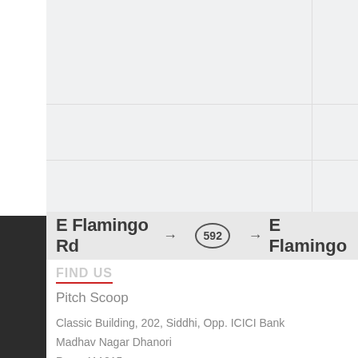[Figure (map): Map screenshot showing E Flamingo Rd with road indicator badge 592 and continuation arrow, overlaid on a light grey street map background]
FIND US
Pitch Scoop
Classic Building, 202, Siddhi, Opp. ICICI Bank
Madhav Nagar Dhanori
Pune 411015
Maharashtra
India
Email: info@pitchscoop.com